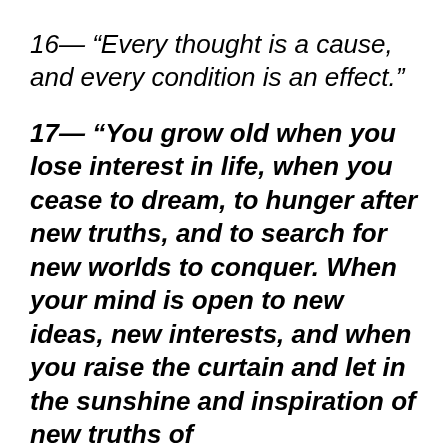16— “Every thought is a cause, and every condition is an effect.”
17— “You grow old when you lose interest in life, when you cease to dream, to hunger after new truths, and to search for new worlds to conquer. When your mind is open to new ideas, new interests, and when you raise the curtain and let in the sunshine and inspiration of new truths of